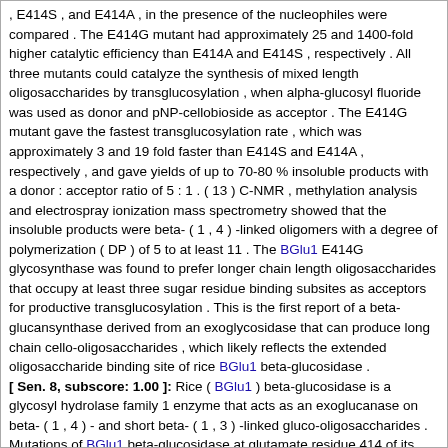, E414S , and E414A , in the presence of the nucleophiles were compared . The E414G mutant had approximately 25 and 1400-fold higher catalytic efficiency than E414A and E414S , respectively . All three mutants could catalyze the synthesis of mixed length oligosaccharides by transglucosylation , when alpha-glucosyl fluoride was used as donor and pNP-cellobioside as acceptor . The E414G mutant gave the fastest transglucosylation rate , which was approximately 3 and 19 fold faster than E414S and E414A , respectively , and gave yields of up to 70-80 % insoluble products with a donor : acceptor ratio of 5 : 1 . ( 13 ) C-NMR , methylation analysis and electrospray ionization mass spectrometry showed that the insoluble products were beta- ( 1 , 4 ) -linked oligomers with a degree of polymerization ( DP ) of 5 to at least 11 . The BGlu1 E414G glycosynthase was found to prefer longer chain length oligosaccharides that occupy at least three sugar residue binding subsites as acceptors for productive transglucosylation . This is the first report of a beta-glucansynthase derived from an exoglycosidase that can produce long chain cello-oligosaccharides , which likely reflects the extended oligosaccharide binding site of rice BGlu1 beta-glucosidase . [ Sen. 8, subscore: 1.00 ]: Rice ( BGlu1 ) beta-glucosidase is a glycosyl hydrolase family 1 enzyme that acts as an exoglucanase on beta- ( 1 , 4 ) - and short beta- ( 1 , 3 ) -linked gluco-oligosaccharides . Mutations of BGlu1 beta-glucosidase at glutamate residue 414 of its natural precursor destroyed the enzymes catalytic activity , but the enzyme could be rescued in the presence of the anionic nucleophiles formate and azide , which verifies that this residue is the catalytic nucleophile . The catalytic activities of three candidate mutants , E414G , E414S , and E414A , in the presence of the nucleophiles were compared . The E414G mutant had approximately 25 and 1400-fold higher catalytic efficiency than E414A and E414S , respectively . All three mutants could catalyze the